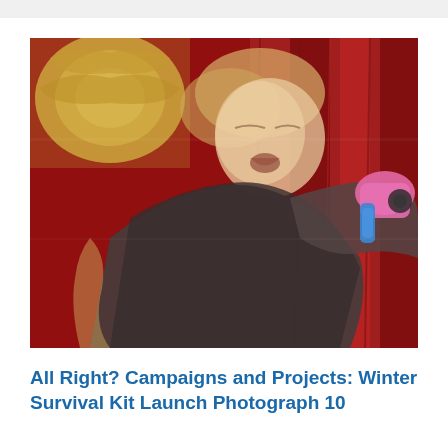[Figure (photo): A blurred action photograph showing a person with light/blond hair wearing a dark brown jacket, mouth open, holding a bright pink object (possibly a water gun or toy) with a blue handle, against a deep red velvet curtain background. A golden ornate decoration is visible in the upper left. The image is motion-blurred.]
All Right? Campaigns and Projects: Winter Survival Kit Launch Photograph 10